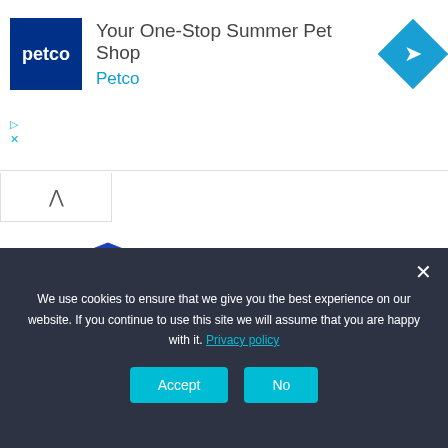[Figure (screenshot): Petco advertisement banner with blue Petco logo square, headline 'Your One-Stop Summer Pet Shop', brand name 'Petco' in blue, and a blue diamond-shaped navigation icon on the right. Ad controls (play triangle and X) appear below on the left.]
[Figure (logo): The Expert Crew website logo: a blue shield badge with a hooded figure and the text 'THE EXPERT CREW' in bold black letters.]
≡  MENU
We use cookies to ensure that we give you the best experience on our website. If you continue to use this site we will assume that you are happy with it. Privacy policy
Accept
No